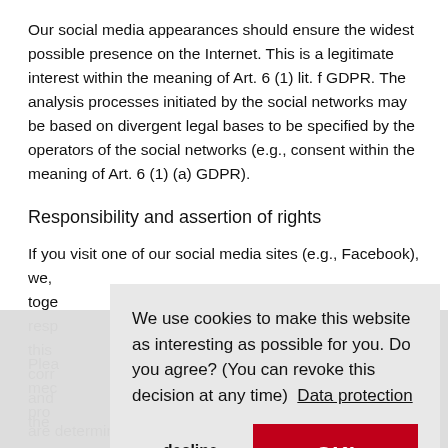Our social media appearances should ensure the widest possible presence on the Internet. This is a legitimate interest within the meaning of Art. 6 (1) lit. f GDPR. The analysis processes initiated by the social networks may be based on divergent legal bases to be specified by the operators of the social networks (e.g., consent within the meaning of Art. 6 (1) (a) GDPR).
Responsibility and assertion of rights
If you visit one of our social media sites (e.g., Facebook), we, toge[ther with the operator of the social media platform, are] resp[onsible for the data processing operations triggered during] this [visit. You can in principle exercise your rights (information,] corr[ection, deletion, limitation of processing, data portability] and [objection) vis-à-vis us as well as vis-à-vis the operator of] the [respective social media portal (e.g. Facebook).]
[Figure (screenshot): Cookie consent popup overlay with text: 'We use cookies to make this website as interesting as possible for you. Do you agree? (You can revoke this decision at any time) Data protection' with two buttons: 'decline' and 'OK!']
Plea[se note that despite the shared responsibility, not all social] med[ia operations are equally within our control. Our options are] pro[cess dependent and are further determined by the company policy of the respective]
are determined by the company policy of the respective